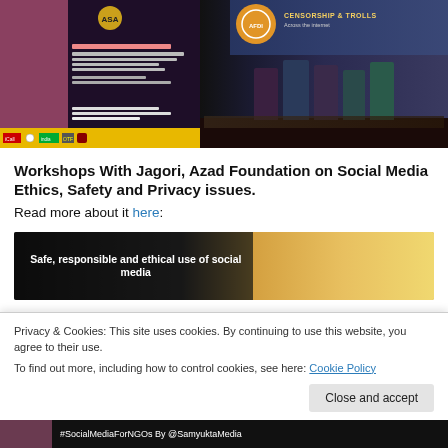[Figure (photo): Two images side by side: left shows a promotional poster with a woman's face and event details on dark background with logos; right shows a panel discussion on stage with 'Censorship & Trolls' banner in background]
Workshops With Jagori, Azad Foundation on Social Media Ethics, Safety and Privacy issues.
Read more about it here:
[Figure (screenshot): Preview image showing 'Safe, responsible and ethical use of social media' text overlay on dark background with colorful image on right]
Privacy & Cookies: This site uses cookies. By continuing to use this website, you agree to their use.
To find out more, including how to control cookies, see here: Cookie Policy
[Figure (photo): Bottom strip showing a thumbnail image and text '#SocialMediaForNGOs By @SamyuktaMedia']